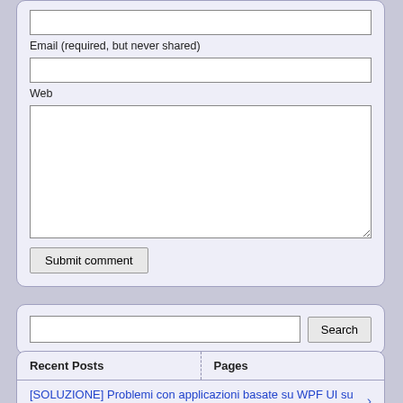Email (required, but never shared)
Web
Submit comment
Search
Recent Posts
Pages
[SOLUZIONE] Problemi con applicazioni basate su WPF UI su computer Dell con Alienware Command Center